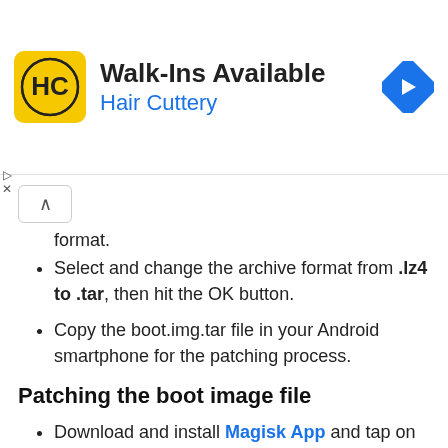[Figure (other): Advertisement banner for Hair Cuttery with yellow HC logo, text 'Walk-Ins Available / Hair Cuttery' and a blue navigation arrow icon]
format.
Select and change the archive format from .lz4 to .tar, then hit the OK button.
Copy the boot.img.tar file in your Android smartphone for the patching process.
Patching the boot image file
Download and install Magisk App and tap on the install option inside the